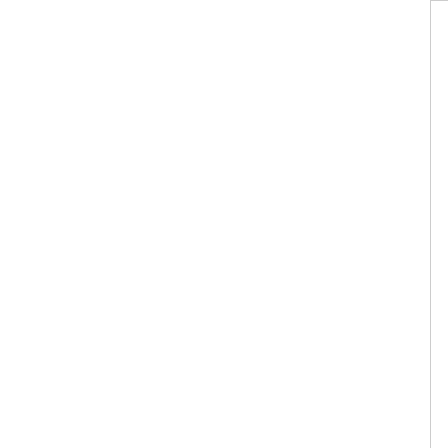[Figure (illustration): Book cover with green spiky ball on cream background]
Buy now
Clinical biochemistry
€ 17,10 instead of € 18,00
Save 5%
[Figure (illustration): Partially visible book cover with red element]
Buy now
Memo - Nutri... and Sport...
€ 23,75 instead € 25,00
Save 5%
[Figure (screenshot): Search widget with dropdown Select and Search button]